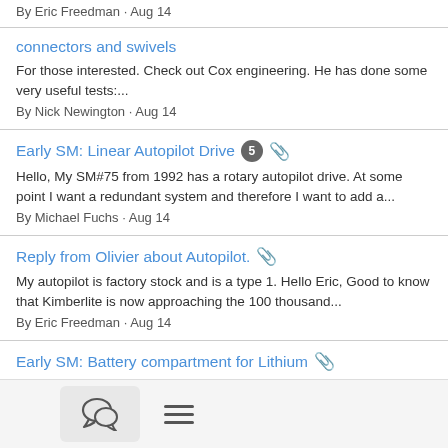By Eric Freedman · Aug 14
connectors and swivels
For those interested. Check out Cox engineering. He has done some very useful tests:...
By Nick Newington · Aug 14
Early SM: Linear Autopilot Drive 5 📎
Hello, My SM#75 from 1992 has a rotary autopilot drive. At some point I want a redundant system and therefore I want to add a...
By Michael Fuchs · Aug 14
Reply from Olivier about Autopilot. 📎
My autopilot is factory stock and is a type 1. Hello Eric, Good to know that Kimberlite is now approaching the 100 thousand...
By Eric Freedman · Aug 14
Early SM: Battery compartment for Lithium 📎
Hello, I have an early SM with the batteries located in the engine room. I'm planning for a lithium upgrade and I was wondering...
[Figure (screenshot): Bottom navigation bar with chat bubble icon button and hamburger menu icon]